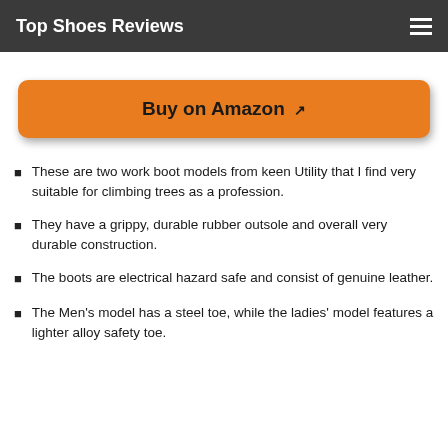Top Shoes Reviews
Buy on Amazon
These are two work boot models from keen Utility that I find very suitable for climbing trees as a profession.
They have a grippy, durable rubber outsole and overall very durable construction.
The boots are electrical hazard safe and consist of genuine leather.
The Men's model has a steel toe, while the ladies' model features a lighter alloy safety toe.